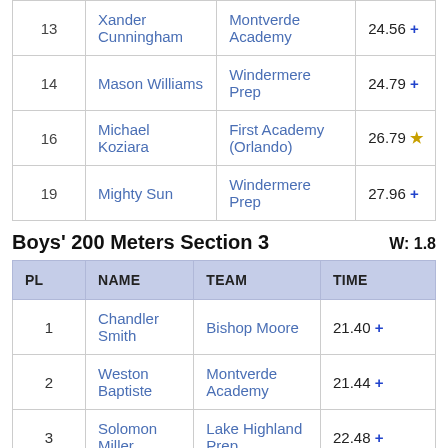|  | NAME | TEAM | TIME |
| --- | --- | --- | --- |
| 13 | Xander Cunningham | Montverde Academy | 24.56 + |
| 14 | Mason Williams | Windermere Prep | 24.79 + |
| 16 | Michael Koziara | First Academy (Orlando) | 26.79 ★ |
| 19 | Mighty Sun | Windermere Prep | 27.96 + |
Boys' 200 Meters Section 3    W: 1.8
| PL | NAME | TEAM | TIME |
| --- | --- | --- | --- |
| 1 | Chandler Smith | Bishop Moore | 21.40 + |
| 2 | Weston Baptiste | Montverde Academy | 21.44 + |
| 3 | Solomon Miller | Lake Highland Prep | 22.48 + |
| 4 | Romelo Ware | Lake Highland Prep | 22.59 + |
| 5 | Lincoln Baptiste | Montverde Academy | 23.13 + |
| 7 | Camren Ware | Lake Highland Prep | 23.26 + |
| 10 | Marc Morrison | Bishop Moore | 23.09 + |